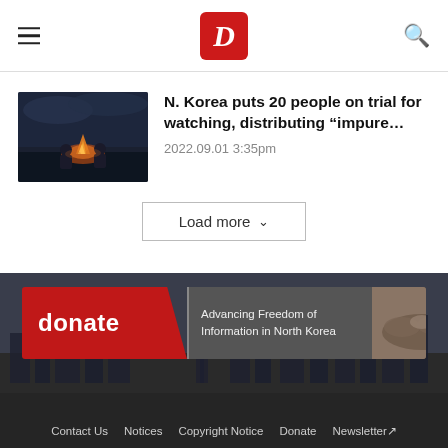D (Daily NK logo)
[Figure (photo): Two people sitting around a fire at night, dramatic lighting, dark background.]
N. Korea puts 20 people on trial for watching, distributing "impure...
2022.09.01 3:35pm
Load more
[Figure (infographic): Donate banner: red left section with 'donate' text, dark divider with 'Advancing Freedom of Information in North Korea', right side shows hands image.]
Contact Us   Notices   Copyright Notice   Donate   Newsletter